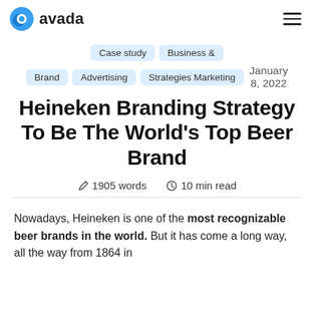avada
Case study  Business &  Brand  Advertising  Strategies Marketing  January 8, 2022
Heineken Branding Strategy To Be The World's Top Beer Brand
1905 words  10 min read
Nowadays, Heineken is one of the most recognizable beer brands in the world. But it has come a long way, all the way from 1864 in